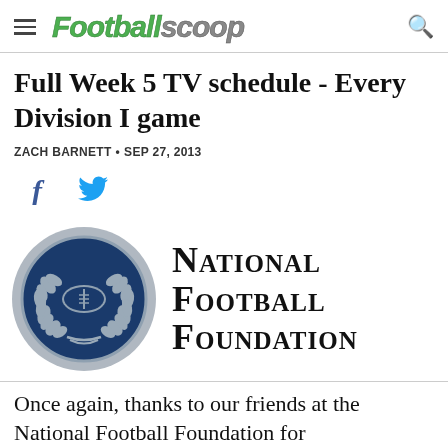FootballScoop
Full Week 5 TV schedule - Every Division I game
ZACH BARNETT • SEP 27, 2013
[Figure (logo): National Football Foundation logo — blue circular seal with football and laurel wreath, accompanied by text 'National Football Foundation']
Once again, thanks to our friends at the National Football Foundation for